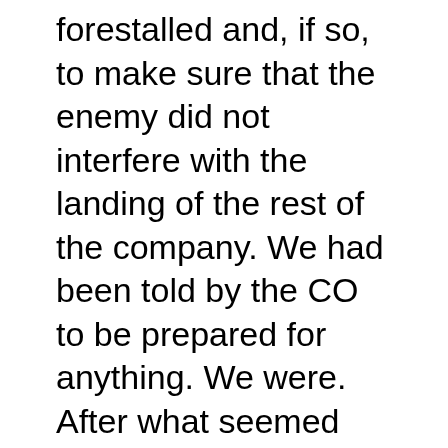forestalled and, if so, to make sure that the enemy did not interfere with the landing of the rest of the company. We had been told by the CO to be prepared for anything. We were. After what seemed like hours, but in reality was only a few minutes, the patrol reported back that the immediate vicinity was clear. Quickly the boat was unloaded to make way for the other boats, which in their turn unloaded troops and supplies. Each boat contained one platoon plus two days' rations and reserve ammunition for the platoon. The men went off to take up positions to defend the